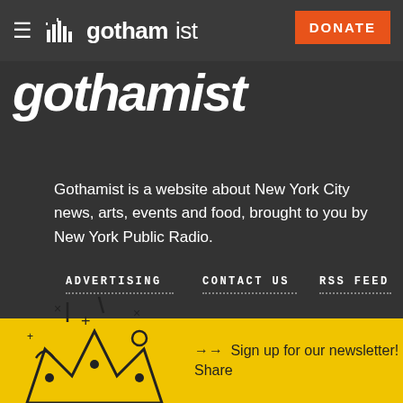gothamist — DONATE
gothamist
Gothamist is a website about New York City news, arts, events and food, brought to you by New York Public Radio.
ADVERTISING
CONTACT US
RSS FEED
DIVERSITY [DEI]
SUPPORT US
[Figure (illustration): Yellow party crown illustration with confetti and decorative elements]
Sign up for our newsletter! Share